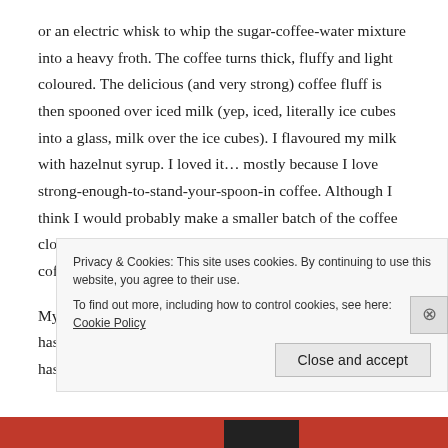or an electric whisk to whip the sugar-coffee-water mixture into a heavy froth. The coffee turns thick, fluffy and light coloured. The delicious (and very strong) coffee fluff is then spooned over iced milk (yep, iced, literally ice cubes into a glass, milk over the ice cubes). I flavoured my milk with hazelnut syrup. I loved it… mostly because I love strong-enough-to-stand-your-spoon-in coffee. Although I think I would probably make a smaller batch of the coffee cloud. If you go by the premise that the ratio of sugar to coffee to hot water is 1:1:1, then you'll be okay.
My friends have tried various iterations of the froth: one has tried matcha, another has tried hot chocolate, another has tried Milo, think it was used for something else and also something...
Privacy & Cookies: This site uses cookies. By continuing to use this website, you agree to their use.
To find out more, including how to control cookies, see here: Cookie Policy